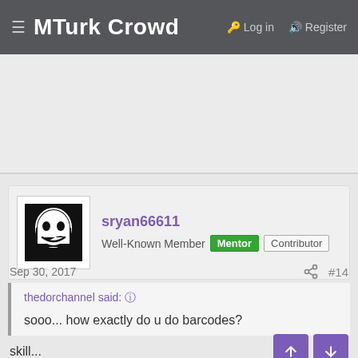MTurk Crowd  Log in  Register
[Figure (other): Gray advertisement placeholder area]
sryan66611
Well-Known Member  Mentor  Contributor
Sep 30, 2017  #14
thedorchannel said: ↑
sooo... how exactly do u do barcodes?
skill...